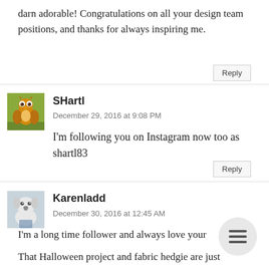darn adorable! Congratulations on all your design team positions, and thanks for always inspiring me.
Reply
SHartl
December 29, 2016 at 9:08 PM
I'm following you on Instagram now too as shartl83
Reply
Karenladd
December 30, 2016 at 12:45 AM
I'm a long time follower and always love your
That Halloween project and fabric hedgie are just